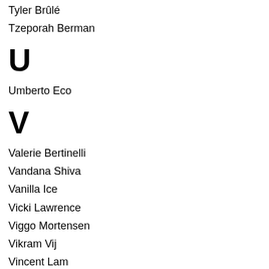Tyler Brûlé
Tzeporah Berman
U
Umberto Eco
V
Valerie Bertinelli
Vandana Shiva
Vanilla Ice
Vicki Lawrence
Viggo Mortensen
Vikram Vij
Vincent Lam
Vincent N…